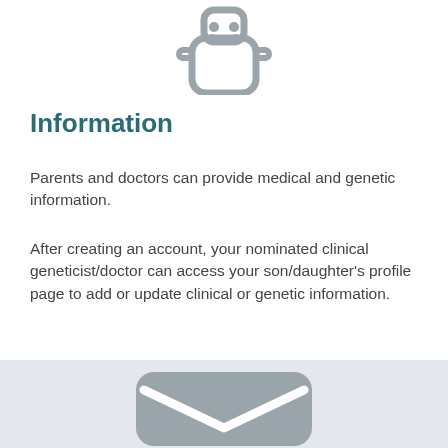[Figure (illustration): Gray robot/person icon at top of page, partially cropped]
Information
Parents and doctors can provide medical and genetic information.
After creating an account, your nominated clinical geneticist/doctor can access your son/daughter's profile page to add or update clinical or genetic information.
[Figure (illustration): Gray rounded rectangle envelope/mail icon at bottom of page, partially cropped, on light gray background]